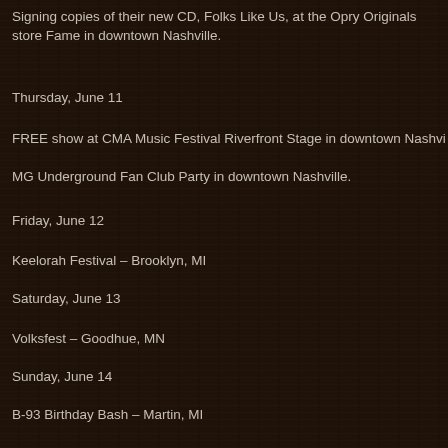Signing copies of their new CD, Folks Like Us, at the Opry Originals store Fame in downtown Nashville.
Thursday, June 11
FREE show at CMA Music Festival Riverfront Stage in downtown Nashvi
MG Underground Fan Club Party in downtown Nashville.
Friday, June 12
Keelorah Festival – Brooklyn, MI
Saturday, June 13
Volksfest – Goodhue, MN
Sunday, June 14
B-93 Birthday Bash – Martin, MI
Posted by LovinLyrics at 8:05 PM
Labels: folks like us, Latest News, monarch publicity, montgomery gentry